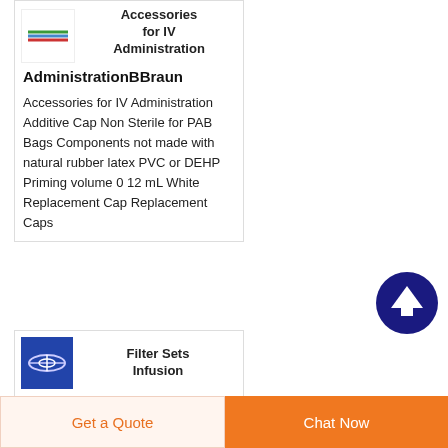[Figure (logo): Small product logo with colored lines (green, blue, red, orange)]
Accessories for IV Administration BBraun
Accessories for IV Administration Additive Cap Non Sterile for PAB Bags Components not made with natural rubber latex PVC or DEHP Priming volume 0 12 mL White Replacement Cap Replacement Caps
[Figure (illustration): Blue square image showing filter set infusion tubing]
Filter Sets Infusion Smiths Medical
[Figure (other): Dark blue circular scroll-to-top button with upward arrow]